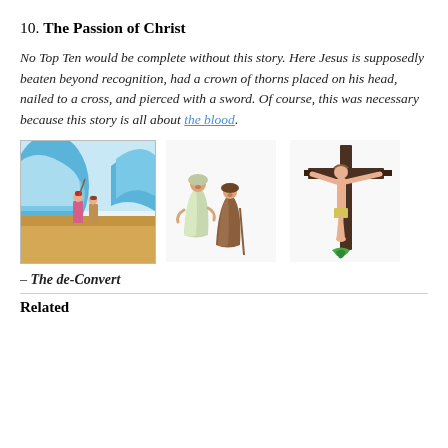10. The Passion of Christ
No Top Ten would be complete without this story. Here Jesus is supposedly beaten beyond recognition, had a crown of thorns placed on his head, nailed to a cross, and pierced with a sword. Of course, this was necessary because this story is all about the blood.
[Figure (illustration): Three cartoon-style illustrations side by side: left shows biblical figures with waves/sea, middle shows two women in robes, right shows a crucifixion scene on a cross with a figure.]
– The de-Convert
Related